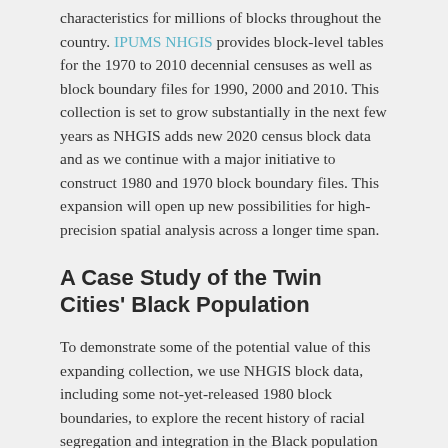characteristics for millions of blocks throughout the country. IPUMS NHGIS provides block-level tables for the 1970 to 2010 decennial censuses as well as block boundary files for 1990, 2000 and 2010. This collection is set to grow substantially in the next few years as NHGIS adds new 2020 census block data and as we continue with a major initiative to construct 1980 and 1970 block boundary files. This expansion will open up new possibilities for high-precision spatial analysis across a longer time span.
A Case Study of the Twin Cities' Black Population
To demonstrate some of the potential value of this expanding collection, we use NHGIS block data, including some not-yet-released 1980 block boundaries, to explore the recent history of racial segregation and integration in the Black population of